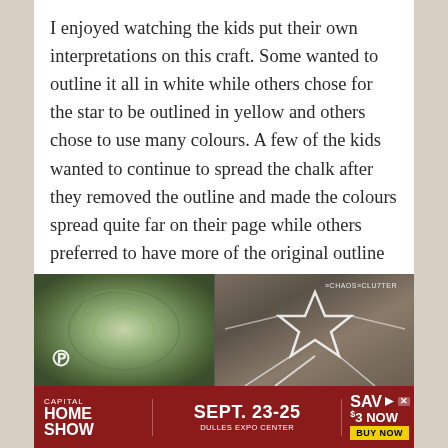I enjoyed watching the kids put their own interpretations on this craft. Some wanted to outline it all in white while others chose for the star to be outlined in yellow and others chose to use many colours. A few of the kids wanted to continue to spread the chalk after they removed the outline and made the colours spread quite far on their page while others preferred to have more of the original outline showing.
[Figure (photo): Two photos side by side: left photo shows a dark green chalk artwork with swirling texture, Pinterest icon visible at lower left. Right photo shows a chalk star outline on dark paper with lines radiating outward. Watermark reading ECHAOS CLUTTER in upper right.]
[Figure (other): Advertisement banner for Capital Home Show, Sept. 23-25, Dulles Expo Center, Save $3 Now, Buy Now button.]